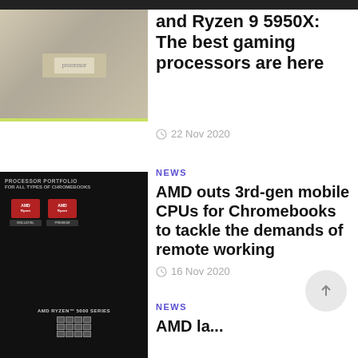and Ryzen 9 5950X: The best gaming processors are here
22 Nov 2020
[Figure (photo): AMD processor portfolio for all types of Chromebooks slide showing product lineup on dark background]
NEWS
AMD outs 3rd-gen mobile CPUs for Chromebooks to tackle the demands of remote working
16 Nov 2020
[Figure (photo): AMD Ryzen 5000 Series product image on dark background]
NEWS
AMD la...